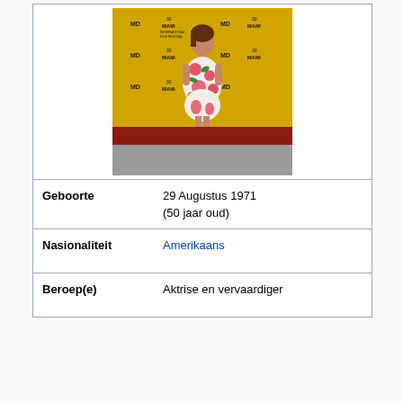[Figure (photo): Woman in a white floral dress standing on a red carpet in front of a yellow Miami International Film Festival step-and-repeat banner]
| Geboorte | 29 Augustus 1971
(50 jaar oud) |
| Nasionaliteit | Amerikaans |
| Beroep(e) | Aktrise en vervaardiger |